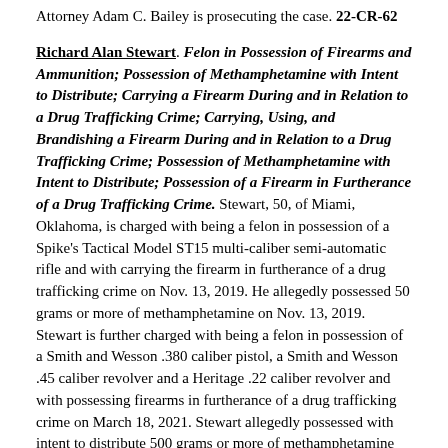Attorney Adam C. Bailey is prosecuting the case. 22-CR-62
Richard Alan Stewart. Felon in Possession of Firearms and Ammunition; Possession of Methamphetamine with Intent to Distribute; Carrying a Firearm During and in Relation to a Drug Trafficking Crime; Carrying, Using, and Brandishing a Firearm During and in Relation to a Drug Trafficking Crime; Possession of Methamphetamine with Intent to Distribute; Possession of a Firearm in Furtherance of a Drug Trafficking Crime. Stewart, 50, of Miami, Oklahoma, is charged with being a felon in possession of a Spike's Tactical Model ST15 multi-caliber semi-automatic rifle and with carrying the firearm in furtherance of a drug trafficking crime on Nov. 13, 2019. He allegedly possessed 50 grams or more of methamphetamine on Nov. 13, 2019. Stewart is further charged with being a felon in possession of a Smith and Wesson .380 caliber pistol, a Smith and Wesson .45 caliber revolver and a Heritage .22 caliber revolver and with possessing firearms in furtherance of a drug trafficking crime on March 18, 2021. Stewart allegedly possessed with intent to distribute 500 grams or more of methamphetamine on March 18, 2021. Stewart is further charged with being a felon in possession of a Ruger EC9s 9 mm caliber pistol and seven rounds of ammunition and with possessing the firearm in furtherance of a drug trafficking crime on May 17, 2021. Stewart allegedly possessed with intent to distribute 50 grams or more of methamphetamine on May 17, 2021. The Drug